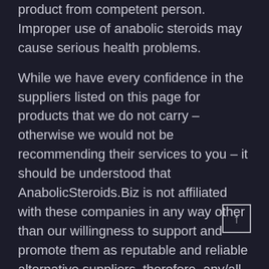product from competent person. Improper use of anabolic steroids may cause serious health problems.
While we have every confidence in the suppliers listed on this page for products that we do not carry – otherwise we would not be recommending their services to you – it should be understood that AnabolicSteroids.Biz is not affiliated with these companies in any way other than our willingness to support and promote them as reputable and reliable alternative suppliers, therefore, any/all inquires you may have should be put directly to the contacts below; please do not contact us with any questions related to their products and/or services, thank you for your cooperation and understanding.